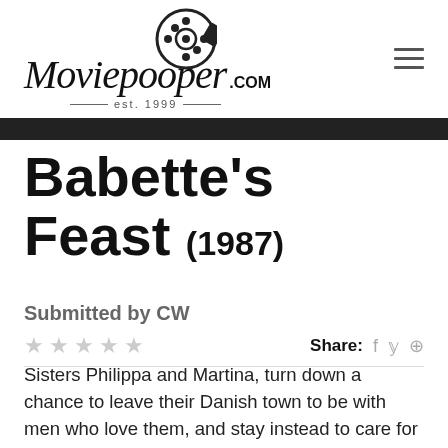Moviepooper.com est. 1999
Babette's Feast (1987)
Submitted by CW
Sisters Philippa and Martina, turn down a chance to leave their Danish town to be with men who love them, and stay instead to care for their aging